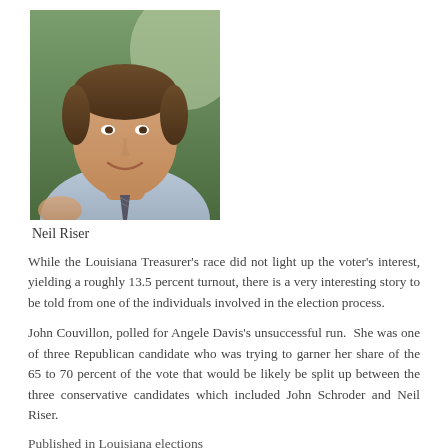[Figure (photo): Portrait photo of Neil Riser, a middle-aged man with brown hair wearing a light blue dress shirt and striped tie, smiling at the camera]
Neil Riser
While the Louisiana Treasurer's race did not light up the voter's interest, yielding a roughly 13.5 percent turnout, there is a very interesting story to be told from one of the individuals involved in the election process.
John Couvillon, polled for Angele Davis's unsuccessful run. She was one of three Republican candidate who was trying to garner her share of the 65 to 70 percent of the vote that would be likely be split up between the three conservative candidates which included John Schroder and Neil Riser.
Published in Louisiana elections